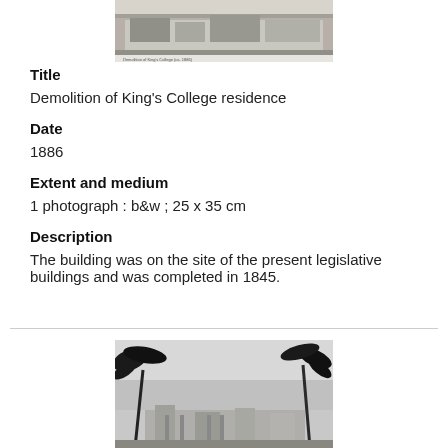[Figure (photo): Black and white historical photograph of King's College residence building, top portion of page]
Title
Demolition of King's College residence
Date
1886
Extent and medium
1 photograph : b&w ; 25 x 35 cm
Description
The building was on the site of the present legislative buildings and was completed in 1845.
[Figure (photo): Black and white photograph showing a building seen through palm trees, bottom portion of page]